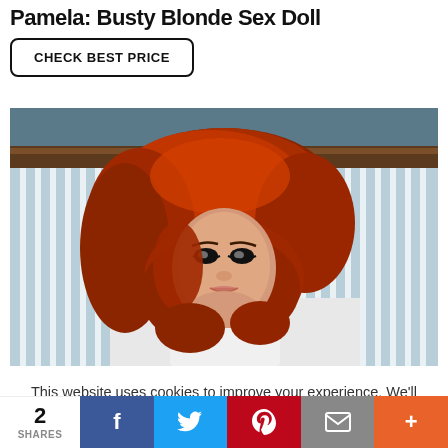Pamela: Busty Blonde Sex Doll
CHECK BEST PRICE
[Figure (photo): A realistic sex doll with long red/auburn wavy hair, lying in bed with blue and white striped pillows and bedding, looking at the camera with dramatic eye makeup.]
This website uses cookies to improve your experience. We'll assume you're ok with this, but you can opt-out if you wish.
2 SHARES | Facebook | Twitter | Pinterest | Email | More